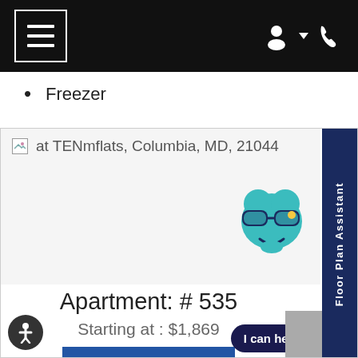Navigation bar with hamburger menu and user/phone icons
Freezer
[Figure (screenshot): Apartment listing card showing floor plan image placeholder with text 'at TENmflats, Columbia, MD, 21044', apartment details, select button, and Floor Plan Assistant sidebar tab]
Apartment: # 535
Starting at : $1,869
SELECT
Floor Plan Assistant
I can help!